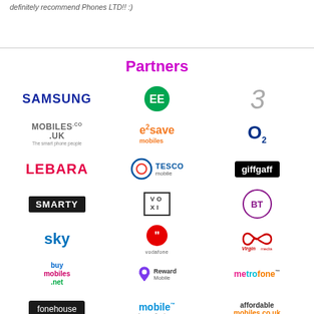definitely recommend Phones LTD!! :)
Partners
[Figure (logo): Samsung logo - bold blue text]
[Figure (logo): EE logo - green circle with EE]
[Figure (logo): Three logo - stylised number 3]
[Figure (logo): Mobiles.co.uk logo]
[Figure (logo): e2save mobiles logo - orange text]
[Figure (logo): O2 logo - dark blue]
[Figure (logo): LEBARA logo - red bold text]
[Figure (logo): Tesco Mobile logo]
[Figure (logo): giffgaff logo - black background white text]
[Figure (logo): SMARTY logo - black background white text]
[Figure (logo): VOXI logo - outlined box letters]
[Figure (logo): BT logo - purple circle]
[Figure (logo): sky logo - blue text]
[Figure (logo): Vodafone logo - red circle with quote mark]
[Figure (logo): Virgin Media logo - red infinity/script]
[Figure (logo): buymobiles.net logo - multicolour]
[Figure (logo): Reward Mobile logo]
[Figure (logo): metrofone logo - multicolour]
[Figure (logo): fonehouse logo - dark background]
[Figure (logo): mobile phones direct logo]
[Figure (logo): affordable mobiles.co.uk logo]
[Figure (logo): Carphone Warehouse logo - dark blue]